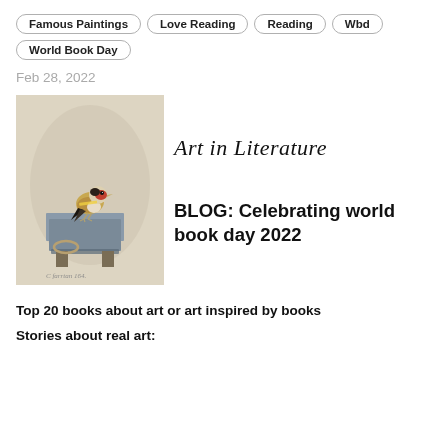Famous Paintings
Love Reading
Reading
Wbd
World Book Day
Feb 28, 2022
[Figure (photo): Painting of a goldfinch bird perched on a small wooden box/pedestal against a beige background. The Goldfinch by Carel Fabritius. A small signature or text is visible at the bottom of the painting.]
Art in Literature
BLOG: Celebrating world book day 2022
Top 20 books about art or art inspired by books
Stories about real art: